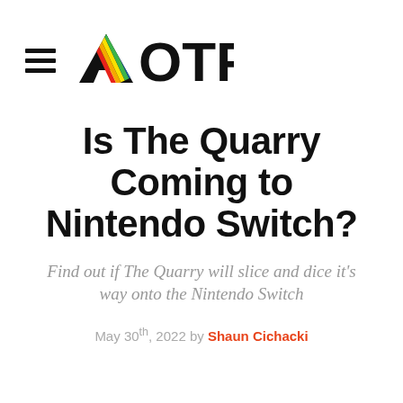AOTF
Is The Quarry Coming to Nintendo Switch?
Find out if The Quarry will slice and dice it's way onto the Nintendo Switch
May 30th, 2022 by Shaun Cichacki